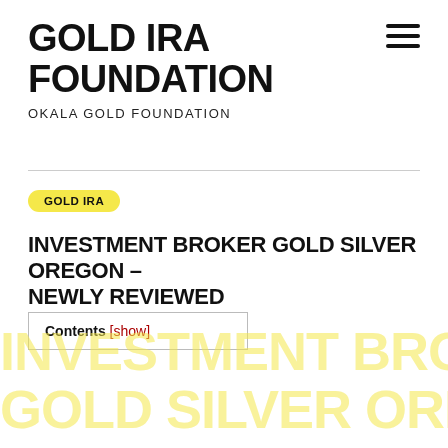GOLD IRA FOUNDATION
OKALA GOLD FOUNDATION
GOLD IRA
INVESTMENT BROKER GOLD SILVER OREGON – NEWLY REVIEWED
Contents [show]
[Figure (other): Watermark text reading INVESTMENT BROKER GOLD SILVER OREGON in large faded yellow letters]